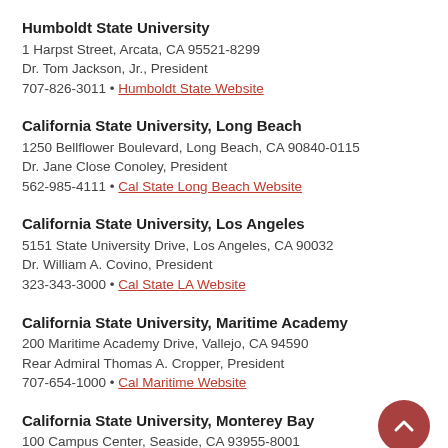Humboldt State University
1 Harpst Street, Arcata, CA 95521-8299
Dr. Tom Jackson, Jr., President
707-826-3011 • Humboldt State Website
California State University, Long Beach
1250 Bellflower Boulevard, Long Beach, CA 90840-0115
Dr. Jane Close Conoley, President
562-985-4111 • Cal State Long Beach Website
California State University, Los Angeles
5151 State University Drive, Los Angeles, CA 90032
Dr. William A. Covino, President
323-343-3000 • Cal State LA Website
California State University, Maritime Academy
200 Maritime Academy Drive, Vallejo, CA 94590
Rear Admiral Thomas A. Cropper, President
707-654-1000 • Cal Maritime Website
California State University, Monterey Bay
100 Campus Center, Seaside, CA 93955-8001